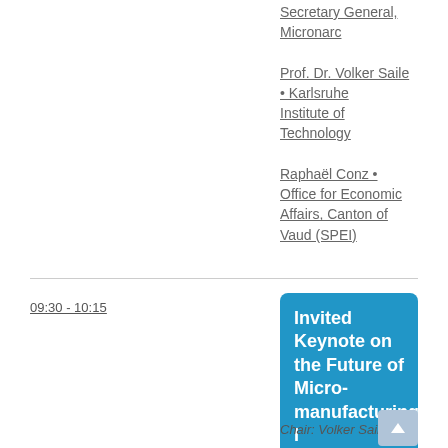Secretary General, Micronarc
Prof. Dr. Volker Saile • Karlsruhe Institute of Technology
Raphaël Conz • Office for Economic Affairs, Canton of Vaud (SPEI)
09:30 - 10:15
Invited Keynote on the Future of Micro-manufacturing I
Chair: Volker Saile,